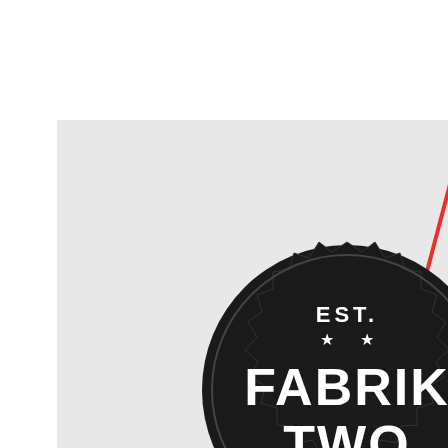[Figure (logo): Fabrik Two logo: dark badge/seal shape with scalloped edge, text 'EST.' at top with two stars, large bold text 'FABRIK TWO' in center, '2007' at bottom, with a red diagonal line crossing over the badge on a light gray background]
[Figure (logo): Zipliner logo: colorful Z-shape made of curved lines in green, yellow, red, and teal with small circle endpoints, text 'Zipliner' in gray below, on a light yellow/cream textured background]